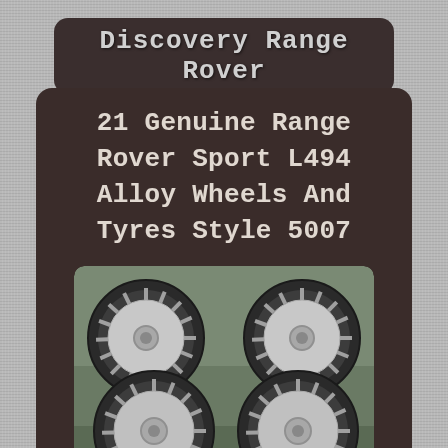Discovery Range Rover
21 Genuine Range Rover Sport L494 Alloy Wheels And Tyres Style 5007
[Figure (photo): Four 21-inch Range Rover Sport L494 alloy wheels with tyres (Style 5007), shown in a 2x2 grid arrangement. The wheels have a multi-spoke silver design. eBay watermark visible at the bottom right.]